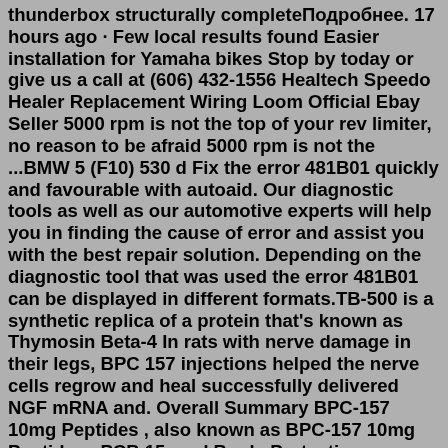thunderbox structurally completeПодробнее. 17 hours ago · Few local results found Easier installation for Yamaha bikes Stop by today or give us a call at (606) 432-1556 Healtech Speedo Healer Replacement Wiring Loom Official Ebay Seller 5000 rpm is not the top of your rev limiter, no reason to be afraid 5000 rpm is not the ...BMW 5 (F10) 530 d Fix the error 481B01 quickly and favourable with autoaid. Our diagnostic tools as well as our automotive experts will help you in finding the cause of error and assist you with the best repair solution. Depending on the diagnostic tool that was used the error 481B01 can be displayed in different formats.TB-500 is a synthetic replica of a protein that's known as Thymosin Beta-4 In rats with nerve damage in their legs, BPC 157 injections helped the nerve cells regrow and heal successfully delivered NGF mRNA and. Overall Summary BPC-157 10mg Peptides , also known as BPC-157 10mg Peptides , PCB 15, and Booly Protection Compound 15, is an amino acid chain that contains a molecular mass of 1419 of... A BMW F90